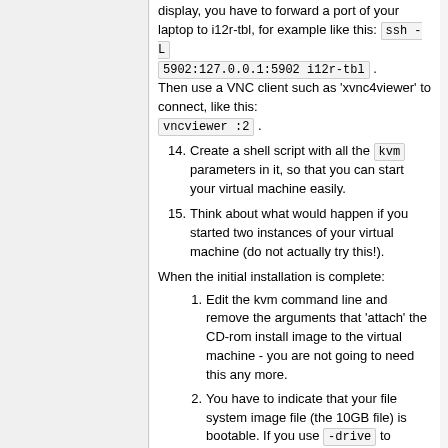display, you have to forward a port of your laptop to i12r-tbl, for example like this: ssh -L 5902:127.0.0.1:5902 i12r-tbl . Then use a VNC client such as 'xvnc4viewer' to connect, like this: vncviewer :2 .
14. Create a shell script with all the kvm parameters in it, so that you can start your virtual machine easily.
15. Think about what would happen if you started two instances of your virtual machine (do not actually try this!).
When the initial installation is complete:
1. Edit the kvm command line and remove the arguments that 'attach' the CD-rom install image to the virtual machine - you are not going to need this any more.
2. You have to indicate that your file system image file (the 10GB file) is bootable. If you use -drive to specify the virtual disk (instead of say